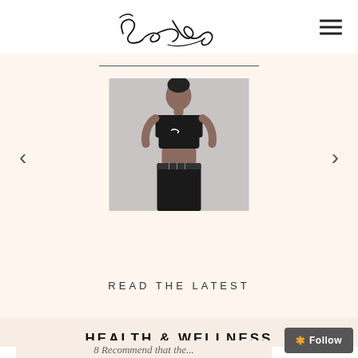Sasha Exeter — logo/signature with hamburger menu
[Figure (photo): Woman wearing black sports bra and athletic wear, photographed from the waist up against a light background. Carousel with left and right arrows.]
READ THE LATEST
HEALTH & WELLNESS
8 Recommend that the...